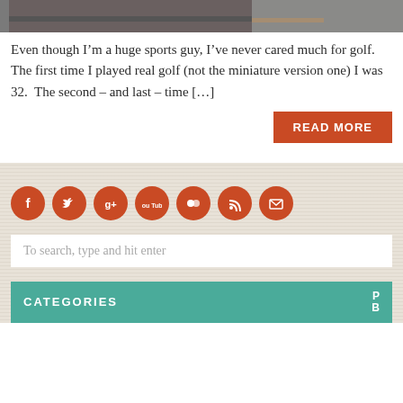[Figure (photo): Partial photo strip at top of page showing indoor scene]
Even though I’m a huge sports guy, I’ve never cared much for golf. The first time I played real golf (not the miniature version one) I was 32. The second – and last – time […]
READ MORE
[Figure (infographic): Row of 7 social media icon circles in burnt orange: Facebook, Twitter, Google+, YouTube, Flickr, RSS, Email]
To search, type and hit enter
CATEGORIES